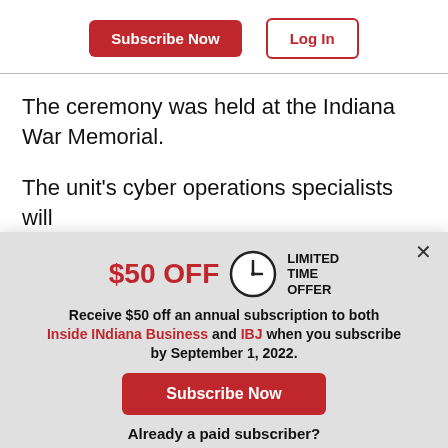Subscribe Now | Log In
The ceremony was held at the Indiana War Memorial.
The unit’s cyber operations specialists will
[Figure (screenshot): Promotional modal overlay offering $50 off an annual subscription to Inside INdiana Business and IBJ when subscribing by September 1, 2022, with Subscribe Now and Log In buttons and a close (x) button.]